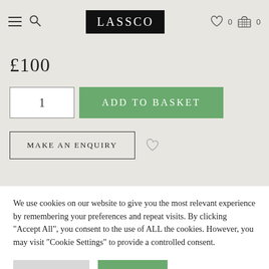LASSCO — navigation bar with hamburger menu, search, logo, wishlist (0), basket (0)
£100
1  ADD TO BASKET
MAKE AN ENQUIRY
We use cookies on our website to give you the most relevant experience by remembering your preferences and repeat visits. By clicking "Accept All", you consent to the use of ALL the cookies. However, you may visit "Cookie Settings" to provide a controlled consent.
Cookie Settings  Accept All